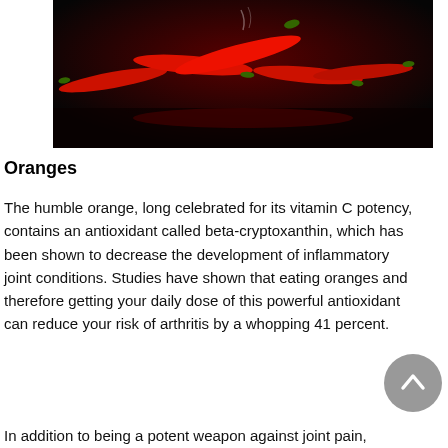[Figure (photo): Photo of red chili peppers arranged on a dark black and red background, with reflections visible beneath them.]
Oranges
The humble orange, long celebrated for its vitamin C potency, contains an antioxidant called beta-cryptoxanthin, which has been shown to decrease the development of inflammatory joint conditions. Studies have shown that eating oranges and therefore getting your daily dose of this powerful antioxidant can reduce your risk of arthritis by a whopping 41 percent.
In addition to being a potent weapon against joint pain,